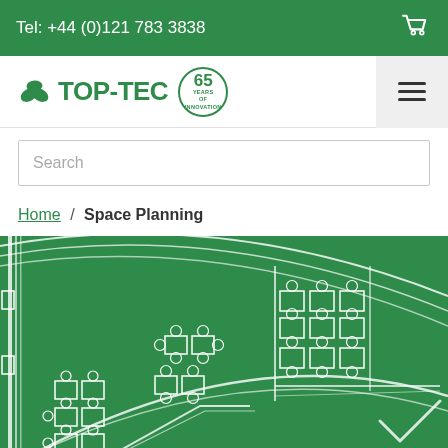Tel: +44 (0)121 783 3838
[Figure (logo): TOP-TEC logo with green leaf icons and '65 Years of Innovation' badge]
Search
Home / Space Planning
[Figure (illustration): Green technical office space planning floor plan diagram showing desks, chairs, and architectural layout lines in white on green background]